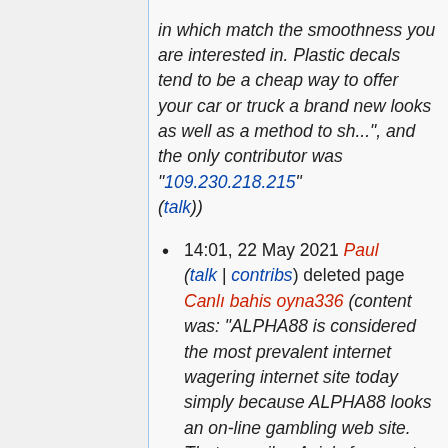in which match the smoothness you are interested in. Plastic decals tend to be a cheap way to offer your car or truck a brand new looks as well as a method to sh...", and the only contributor was "109.230.218.215" (talk))
14:01, 22 May 2021 Paul (talk | contribs) deleted page Canlı bahis oyna336 (content was: "ALPHA88 is considered the most prevalent internet wagering internet site today simply because ALPHA88 looks an on-line gambling web site. That compiles Asia's foremost merchandise, especially activities, also referred to as on the internet soccer betting, top football gambling internet site, soccer gambling series otherwise move...", and the only contributor...